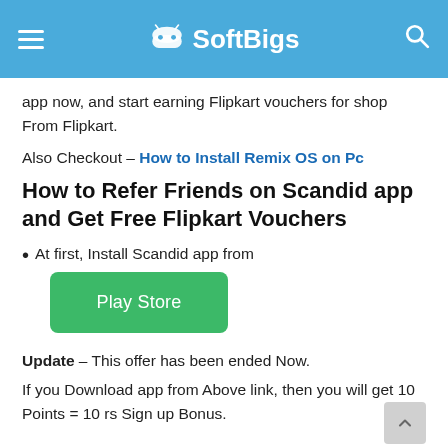SoftBigs
app now, and start earning Flipkart vouchers for shop From Flipkart.
Also Checkout – How to Install Remix OS on Pc
How to Refer Friends on Scandid app and Get Free Flipkart Vouchers
At first, Install Scandid app from
[Figure (other): Green Play Store button]
Update – This offer has been ended Now.
If you Download app from Above link, then you will get 10 Points = 10 rs Sign up Bonus.